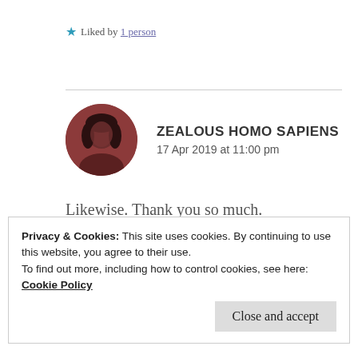★ Liked by 1 person
[Figure (photo): Circular profile photo of Zealous Homo Sapiens, showing a person with dark hair against a dark reddish-brown background]
ZEALOUS HOMO SAPIENS
17 Apr 2019 at 11:00 pm
Likewise. Thank you so much.
★ Liked by 1 person
Privacy & Cookies: This site uses cookies. By continuing to use this website, you agree to their use.
To find out more, including how to control cookies, see here: Cookie Policy
Close and accept